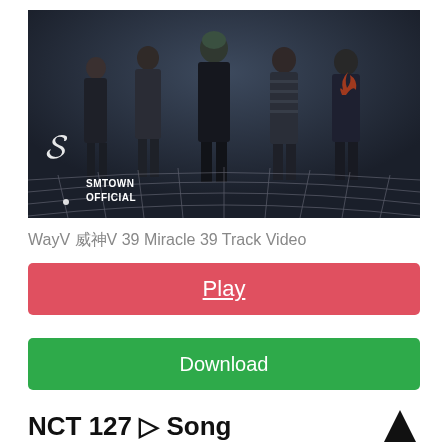[Figure (screenshot): YouTube thumbnail showing 5 members of WayV standing against a dark background with a grid-warped floor and SMTOWN OFFICIAL logo in the bottom left]
WayV 威神V 39 Miracle 39 Track Video
Play
Download
NCT 127 ▷ Song